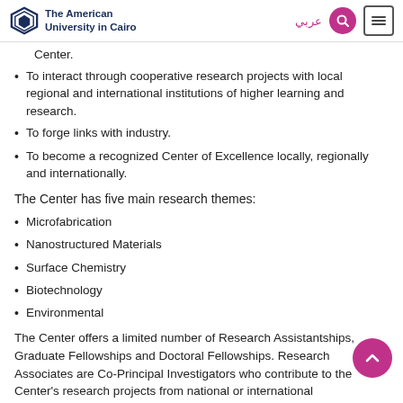The American University in Cairo
Center.
To interact through cooperative research projects with local regional and international institutions of higher learning and research.
To forge links with industry.
To become a recognized Center of Excellence locally, regionally and internationally.
The Center has five main research themes:
Microfabrication
Nanostructured Materials
Surface Chemistry
Biotechnology
Environmental
The Center offers a limited number of Research Assistantships, Graduate Fellowships and Doctoral Fellowships. Research Associates are Co-Principal Investigators who contribute to the Center's research projects from national or international